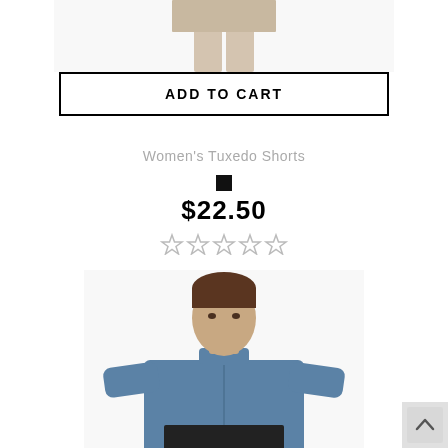[Figure (photo): Partial image of a woman's lower body wearing tuxedo shorts, white background, legs visible from waist down]
ADD TO CART
Women's Tuxedo Shorts
[Figure (other): Small black square color swatch]
$22.50
[Figure (other): Five-star rating display, all stars empty/gray]
[Figure (photo): Man wearing a blue/steel-blue banded collar long sleeve shirt, dark pants, white background, torso and head visible]
[Figure (other): Back to top button, gray square with up arrow]